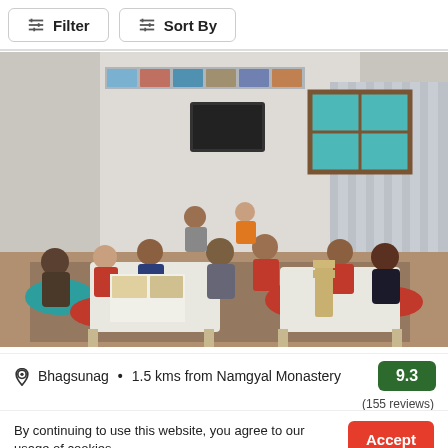[Figure (screenshot): Filter and Sort By buttons at the top of a travel/accommodation search interface]
[Figure (photo): Interior of a cafe or hostel common room in Bhagsunag, India. People are sitting on floor cushions around low tables, playing board games. The room has teal cushions, striped rugs, white walls, photos on the upper walls, a TV, and silver curtains.]
Bhagsunag • 1.5 kms from Namgyal Monastery
9.3
(155 reviews)
By continuing to use this website, you agree to our usage of cookies.
Accept